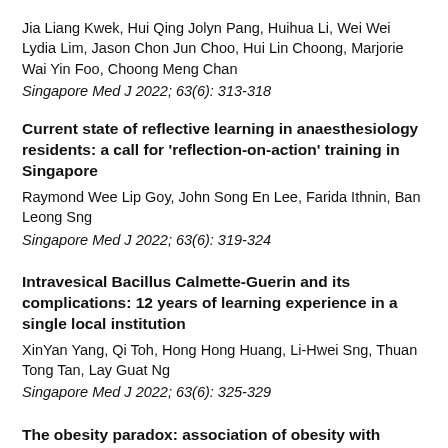Jia Liang Kwek, Hui Qing Jolyn Pang, Huihua Li, Wei Wei Lydia Lim, Jason Chon Jun Choo, Hui Lin Choong, Marjorie Wai Yin Foo, Choong Meng Chan
Singapore Med J 2022; 63(6): 313-318
Current state of reflective learning in anaesthesiology residents: a call for 'reflection-on-action' training in Singapore
Raymond Wee Lip Goy, John Song En Lee, Farida Ithnin, Ban Leong Sng
Singapore Med J 2022; 63(6): 319-324
Intravesical Bacillus Calmette-Guerin and its complications: 12 years of learning experience in a single local institution
XinYan Yang, Qi Toh, Hong Hong Huang, Li-Hwei Sng, Thuan Tong Tan, Lay Guat Ng
Singapore Med J 2022; 63(6): 325-329
The obesity paradox: association of obesity with inverse learning in clinically...